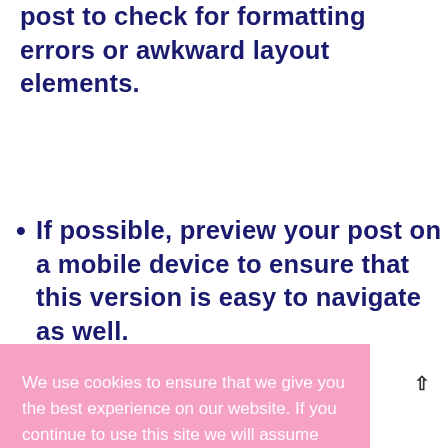post to check for formatting errors or awkward layout elements.
If possible, preview your post on a mobile device to ensure that this version is easy to navigate as well.
…o make …nd easy …es, sub- …alicized …opy.
[Figure (screenshot): Cookie consent banner overlay on pink background with teal 'YEP, I'M GOOD!' button. Text reads: 'We use cookies to ensure that we give you the best experience on our website. If you continue to use this site we will assume you are happy with it! Read More']